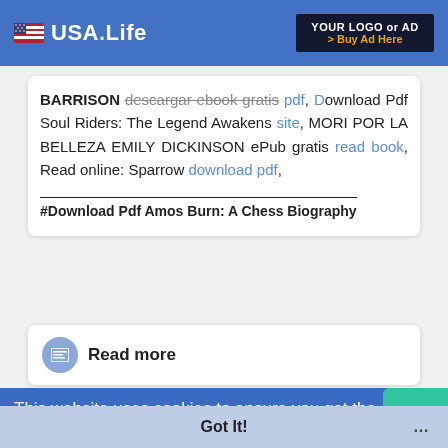USA.Life — YOUR LOGO or AD > Buy Ad Here
BARRISON descargar ebook gratis pdf, Download Pdf Soul Riders: The Legend Awakens site, MORI POR LA BELLEZA EMILY DICKINSON ePub gratis read book, Read online: Sparrow download pdf,
#Download Pdf Amos Burn: A Chess Biography
Read more
This website uses cookies to ensure you get the best experience on our website. Learn More
Got It!
16 Mar 2022